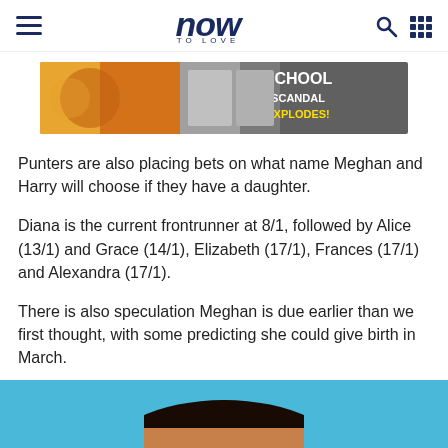now TO LOVE
[Figure (photo): Advertisement banner showing magazines and food, with text 'SCANDAL SCHOOL EXPLODES!']
Punters are also placing bets on what name Meghan and Harry will choose if they have a daughter.
Diana is the current frontrunner at 8/1, followed by Alice (13/1) and Grace (14/1), Elizabeth (17/1), Frances (17/1) and Alexandra (17/1).
There is also speculation Meghan is due earlier than we first thought, with some predicting she could give birth in March.
[Figure (photo): Bottom portion of a photo showing a person's dark hair against a blue background]